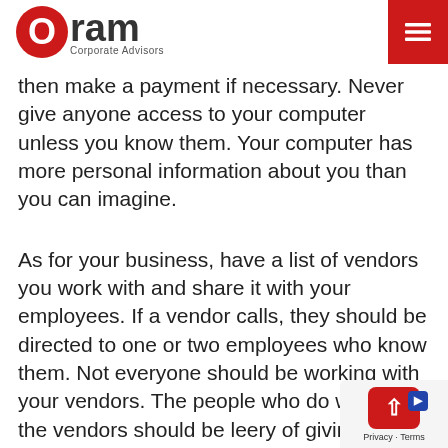Oram Corporate Advisors
then make a payment if necessary. Never give anyone access to your computer unless you know them. Your computer has more personal information about you than you can imagine.
As for your business, have a list of vendors you work with and share it with your employees. If a vendor calls, they should be directed to one or two employees who know them. Not everyone should be working with your vendors. The people who do work with the vendors should be leery of giving out information that they should already have on hand. Again, hang up the phone and call the vendor directly to see if they are really requesting this information.